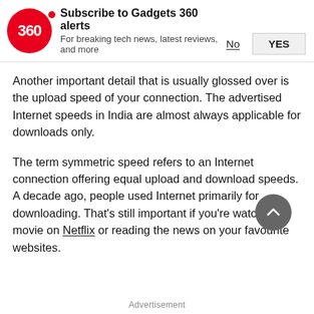[Figure (logo): Gadgets 360 logo — red circle with '360' text in white, with a small red dot to its right, alongside subscription alert banner text]
Subscribe to Gadgets 360 alerts
For breaking tech news, latest reviews, and more
No   YES
Another important detail that is usually glossed over is the upload speed of your connection. The advertised Internet speeds in India are almost always applicable for downloads only.
The term symmetric speed refers to an Internet connection offering equal upload and download speeds. A decade ago, people used Internet primarily for downloading. That's still important if you're watching a movie on Netflix or reading the news on your favourite websites.
Advertisement